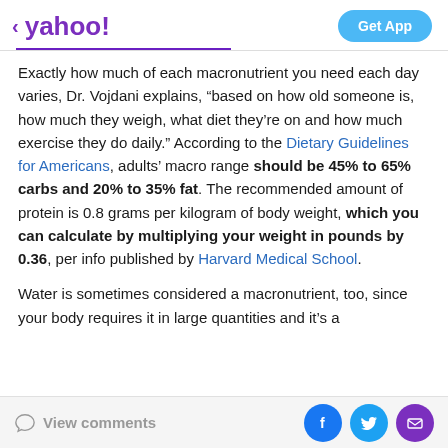< yahoo!  Get App
Exactly how much of each macronutrient you need each day varies, Dr. Vojdani explains, “based on how old someone is, how much they weigh, what diet they’re on and how much exercise they do daily.” According to the Dietary Guidelines for Americans, adults’ macro range should be 45% to 65% carbs and 20% to 35% fat. The recommended amount of protein is 0.8 grams per kilogram of body weight, which you can calculate by multiplying your weight in pounds by 0.36, per info published by Harvard Medical School.
Water is sometimes considered a macronutrient, too, since your body requires it in large quantities and it’s a
View comments  [Facebook] [Twitter] [Mail]